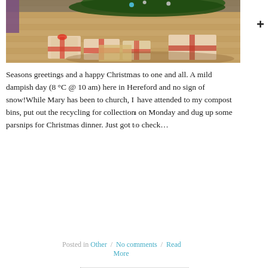[Figure (photo): Photo of wrapped Christmas presents under a decorated Christmas tree on a wooden parquet floor]
Seasons greetings and a happy Christmas to one and all. A mild dampish day (8 °C @ 10 am) here in Hereford and no sign of snow!While Mary has been to church, I have attended to my compost bins, put out the recycling for collection on Monday and dug up some parsnips for Christmas dinner. Just got to check...
Posted in Other / No comments / Read More